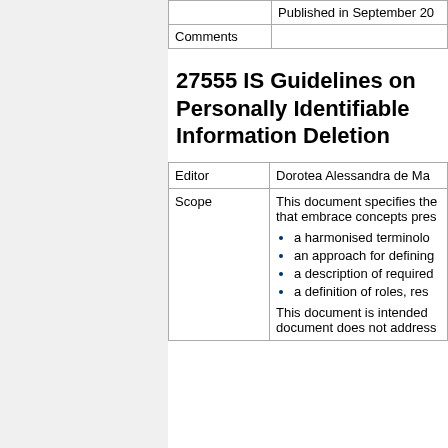|  |  |
| --- | --- |
|  | Published in September 20... |
| Comments |  |
27555 IS Guidelines on Personally Identifiable Information Deletion
| Editor | Dorotea Alessandra de Ma... |
| Scope | This document specifies the... that embrace concepts pres...
• a harmonised terminolo...
• an approach for defining...
• a description of required...
• a definition of roles, res...
This document is intended... document does not address... |